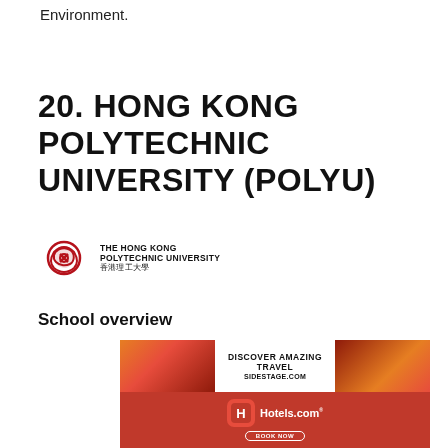Environment.
20. HONG KONG POLYTECHNIC UNIVERSITY (POLYU)
[Figure (logo): The Hong Kong Polytechnic University logo with red knot emblem and English/Chinese text]
School overview
[Figure (other): Advertisement: Hotels.com ad with travel imagery, 'Discover Amazing Travel' text, Hotels.com logo and Book Now button]